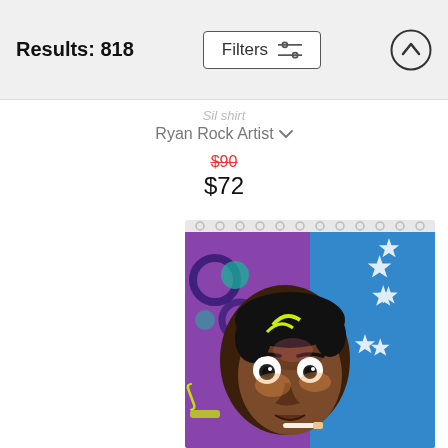Results: 818
Ryan Rock Artist
$90 (strikethrough original price) $72 (sale price)
[Figure (photo): Colorful pop-art style painting of a young man with wide eyes and a cigarette in his mouth, displayed as a shower curtain with grommets at the top. Vivid graffiti-style background with stars, swirls, and bright colors.]